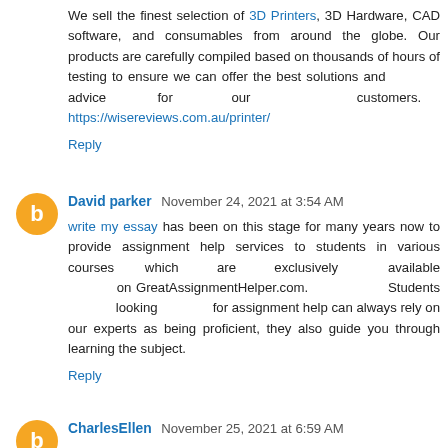We sell the finest selection of 3D Printers, 3D Hardware, CAD software, and consumables from around the globe. Our products are carefully compiled based on thousands of hours of testing to ensure we can offer the best solutions and advice for our customers. https://wisereviews.com.au/printer/
Reply
David parker   November 24, 2021 at 3:54 AM
write my essay has been on this stage for many years now to provide assignment help services to students in various courses which are exclusively available on GreatAssignmentHelper.com. Students looking for assignment help can always rely on our experts as being proficient, they also guide you through learning the subject.
Reply
CharlesEllen   November 25, 2021 at 6:59 AM
Thank you for providing such a wealth of knowledge on